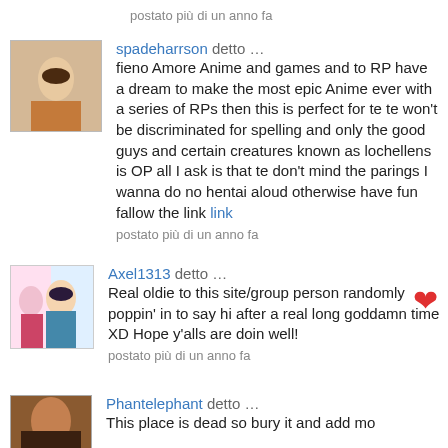postato più di un anno fa
spadeharrson detto … fieno Amore Anime and games and to RP have a dream to make the most epic Anime ever with a series of RPs then this is perfect for te te won't be discriminated for spelling and only the good guys and certain creatures known as lochellens is OP all I ask is that te don't mind the parings I wanna do no hentai aloud otherwise have fun fallow the link link
postato più di un anno fa
Axel1313 detto … Real oldie to this site/group person randomly poppin' in to say hi after a real long goddamn time XD Hope y'alls are doin well!
postato più di un anno fa
Phantelephant detto … This place is dead so bury it and add mo